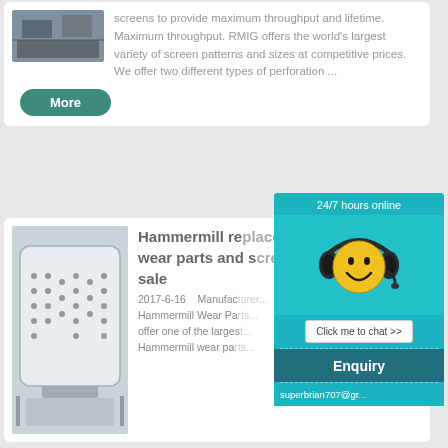[Figure (photo): Aerial/industrial photo showing machinery or equipment installation site]
screens to provide maximum throughput and lifetime. Maximum throughput. RMIG offers the world's largest variety of screen patterns and sizes at competitive prices. We offer two different types of perforation ...
[Figure (illustration): Smiley face with headset icon for 24/7 online chat support]
[Figure (photo): Photo of a large white industrial hammermill machine in a factory setting]
Hammermill replacement wear parts and screens for sale
2017-6-16    Manufacturer ... Hammermill Wear Parts ... offer one of the largest ... Hammermill wear pa...